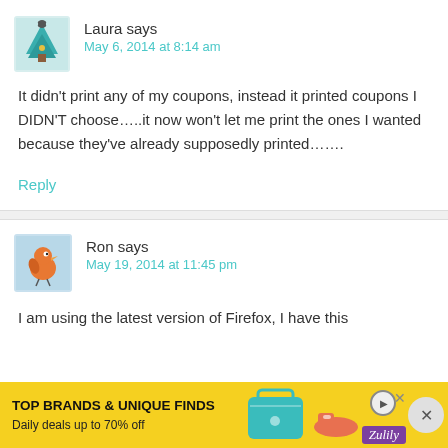[Figure (illustration): Avatar illustration of a cartoon Christmas tree with scissors, teal/green color on light background]
Laura says
May 6, 2014 at 8:14 am
It didn't print any of my coupons, instead it printed coupons I DIDN'T choose…..it now won't let me print the ones I wanted because they've already supposedly printed…….
Reply
[Figure (illustration): Avatar illustration of a cartoon orange bird character on light blue background]
Ron says
May 19, 2014 at 11:45 pm
I am using the latest version of Firefox, I have this site... ...ed all
[Figure (other): Advertisement banner: TOP BRANDS & UNIQUE FINDS, Daily deals up to 70% off, Zulily, with handbag and shoe images]